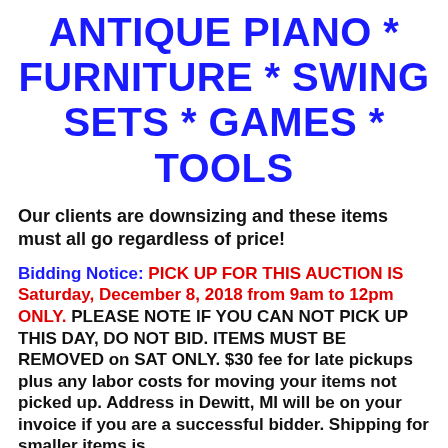ANTIQUE PIANO * FURNITURE * SWING SETS * GAMES * TOOLS
Our clients are downsizing and these items must all go regardless of price!
Bidding Notice: PICK UP FOR THIS AUCTION IS Saturday, December 8, 2018 from 9am to 12pm ONLY. PLEASE NOTE IF YOU CAN NOT PICK UP THIS DAY, DO NOT BID. ITEMS MUST BE REMOVED on SAT ONLY. $30 fee for late pickups plus any labor costs for moving your items not picked up. Address in Dewitt, MI will be on your invoice if you are a successful bidder. Shipping for smaller items is